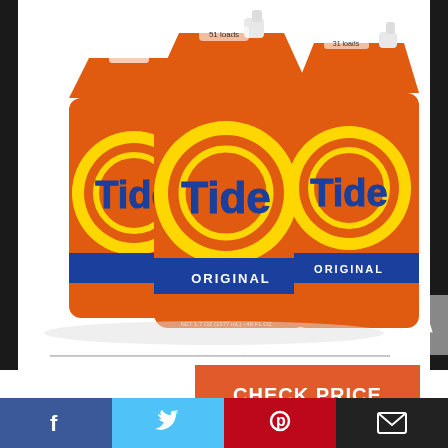[Figure (photo): Three orange Tide Original Liquid Laundry Detergent pouches/bags arranged in a fan pattern on a white background. The center pouch faces forward showing the full Tide logo with yellow and orange circular design and 'ORIGINAL' text on a blue banner. Two pouches flank the center one, partially visible.]
CHECK PRICE
[Figure (infographic): Social media sharing bar with four sections: Facebook (blue), Twitter (light blue), Pinterest (red), and Email (dark/black), each containing the respective icon in white.]